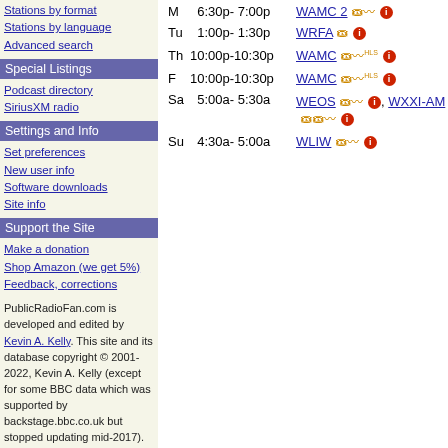Stations by format
Stations by language
Advanced search
Special Listings
Podcast directory
SiriusXM radio
Settings and Info
Set preferences
New user info
Software downloads
Site info
Support the Site
Make a donation
Shop Amazon (we get 5%)
Feedback, corrections
PublicRadioFan.com is developed and edited by Kevin A. Kelly. This site and its database copyright © 2001-2022, Kevin A. Kelly (except for some BBC data which was supported by backstage.bbc.co.uk but stopped updating mid-2017).
| Day | Time | Station |
| --- | --- | --- |
| M | 6:30p- 7:00p | WAMC 2 |
| Tu | 1:00p- 1:30p | WRFA |
| Th | 10:00p-10:30p | WAMC |
| F | 10:00p-10:30p | WAMC |
| Sa | 5:00a- 5:30a | WEOS, WXXI-AM |
| Su | 4:30a- 5:00a | WLIW |